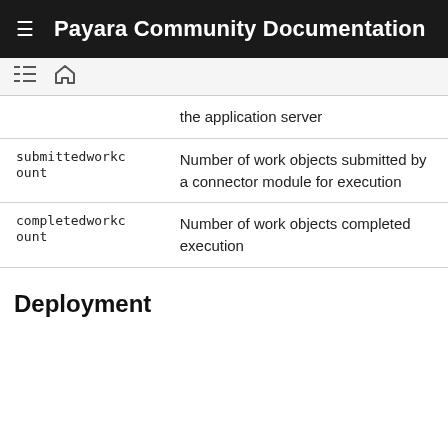Payara Community Documentation
|  |  |
| --- | --- |
|  | the application server |
| submittedworkcount | Number of work objects submitted by a connector module for execution |
| completedworkcount | Number of work objects completed execution |
Deployment